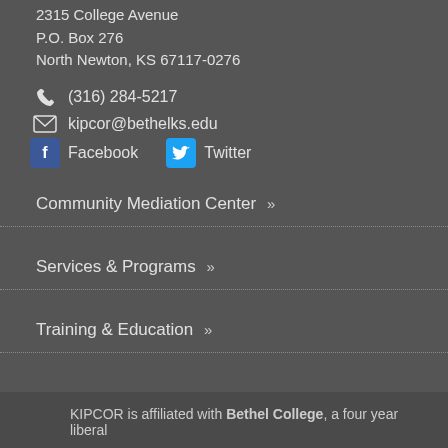2315 College Avenue
P.O. Box 276
North Newton, KS 67117-0276
(316) 284-5217
kipcor@bethelks.edu
Facebook   Twitter
Community Mediation Center »
Services & Programs »
Training & Education »
KIPCOR is affiliated with Bethel College, a four year liberal